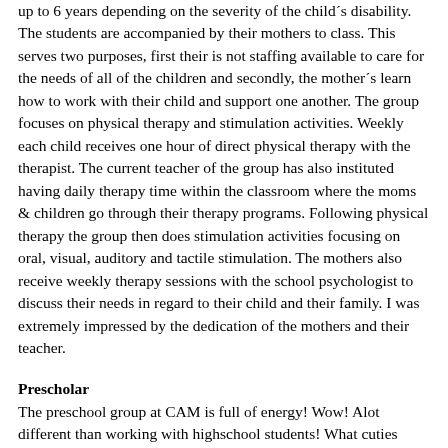up to 6 years depending on the severity of the child's disability. The students are accompanied by their mothers to class. This serves two purposes, first their is not staffing available to care for the needs of all of the children and secondly, the mother´s learn how to work with their child and support one another. The group focuses on physical therapy and stimulation activities. Weekly each child receives one hour of direct physical therapy with the therapist. The current teacher of the group has also instituted having daily therapy time within the classroom where the moms & children go through their therapy programs. Following physical therapy the group then does stimulation activities focusing on oral, visual, auditory and tactile stimulation. The mothers also receive weekly therapy sessions with the school psychologist to discuss their needs in regard to their child and their family. I was extremely impressed by the dedication of the mothers and their teacher.
Prescholar
The preschool group at CAM is full of energy! Wow! Alot different than working with highschool students! What cuties though! In order to continue into preschool a student must be ambulatory. This for me was very difficult to accept considering I work with children with more involved physical disabilities and I know the benefit they receive from an inclusive school. A large percent of